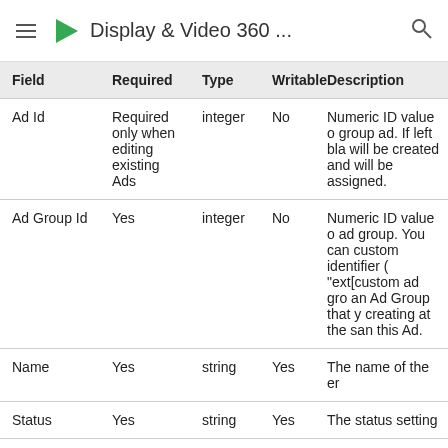Display & Video 360 ...
| Field | Required | Type | Writable | Description |
| --- | --- | --- | --- | --- |
| Ad Id | Required only when editing existing Ads | integer | No | Numeric ID value o group ad. If left bla will be created and will be assigned. |
| Ad Group Id | Yes | integer | No | Numeric ID value o ad group. You can custom identifier ( "ext[custom ad gro an Ad Group that y creating at the san this Ad. |
| Name | Yes | string | Yes | The name of the er |
| Status | Yes | string | Yes | The status setting |